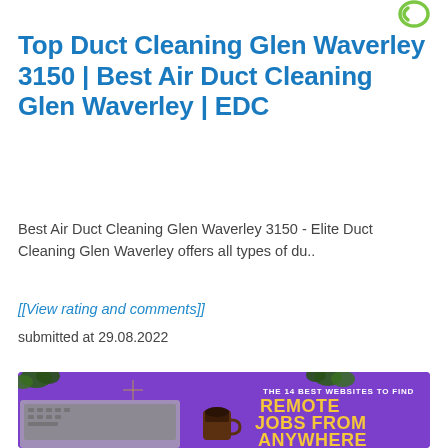[Figure (logo): Green circular logo/icon in top right corner]
Top Duct Cleaning Glen Waverley 3150 | Best Air Duct Cleaning Glen Waverley | EDC
Best Air Duct Cleaning Glen Waverley 3150 - Elite Duct Cleaning Glen Waverley offers all types of du..
[[View rating and comments]]
submitted at 29.08.2022
[Figure (infographic): Purple background infographic with laptop, coffee cup, lemon slice and plants. Text reads: THE 14 BEST WEBSITES TO FIND REMOTE JOBS FROM ANYWHERE in yellow bold text.]